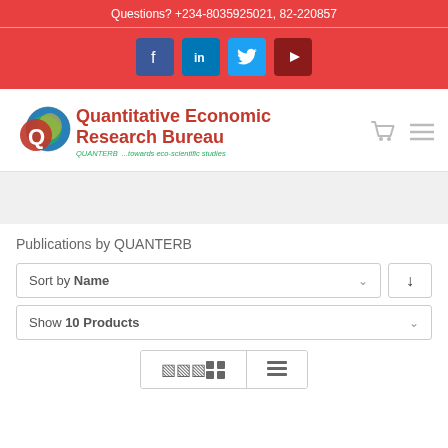Questions? +234-8035925021, 82-220857
[Figure (screenshot): Social media icons: Facebook, LinkedIn, Twitter, YouTube]
[Figure (logo): Quantitative Economic Research Bureau logo with globe graphic and text 'QUANTERB ...towards eco-scientific studies']
Publications by QUANTERB
Sort by Name
Show 10 Products
[Figure (screenshot): View toggle buttons: grid view and list view]